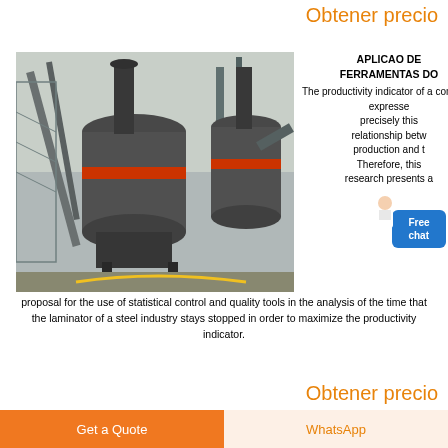Obtener precio
[Figure (photo): Industrial mill machines/grinders in a large factory building]
APLICAO DE FERRAMENTAS DO
The productivity indicator of a company expressed precisely this relationship between production and t… Therefore, this research presents a proposal for the use of statistical control and quality tools in the analysis of the time that the laminator of a steel industry stays stopped in order to maximize the productivity indicator.
Obtener precio
[Figure (photo): Steel industry equipment, partial view]
Gerdau Brasil
Get a Quote
WhatsApp